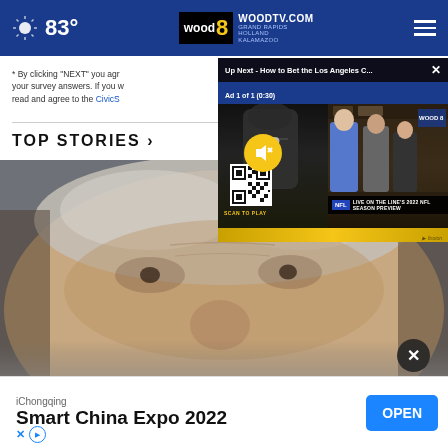83° WOODTV.COM GRAND RAPIDS HOLLAND KALAMAZOO
* By clicking "NEXT" you agr... your survey answers. If you w... read and agree to the CivicS...
TOP STORIES ›
[Figure (photo): Close-up photo of a man's face with gray hair, blue eyes, and aged skin. Appears to be a news photograph.]
[Figure (screenshot): Video popup overlay showing 'Up Next - How to Bet the Los Angeles C...' with Ad 1 of 1 (0:30). Left panel shows a football player silhouette with number 12 and a yellow mute button, plus a QR code. Right panel shows TV hosts on a set with NFL banner reading 'LIVE ON THE LINE'S 2022 NFL SEASON PREVIEW'. Yellow bar at bottom.]
[Figure (screenshot): Bottom advertisement banner showing 'iChongqing - Smart China Expo 2022' with an OPEN button in blue. X and play icons at bottom left.]